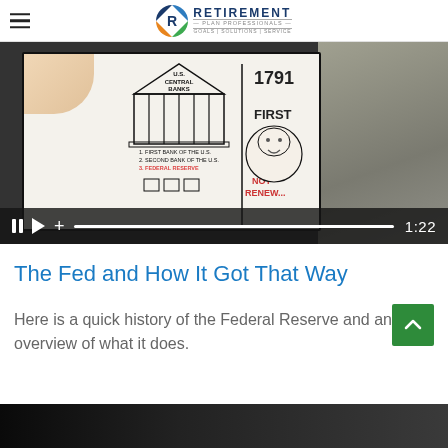RETIREMENT PLAN PROFESSIONALS | GOALS | SOLUTIONS | SERVICE
[Figure (screenshot): Video player showing a whiteboard animation about U.S. Central Banks and the Federal Reserve, with a hand drawing the illustration. Video controls show pause, play, volume/add buttons, a progress bar, and timestamp 1:22.]
The Fed and How It Got That Way
Here is a quick history of the Federal Reserve and an overview of what it does.
[Figure (screenshot): Bottom portion of another image, dark/black background, partially visible.]